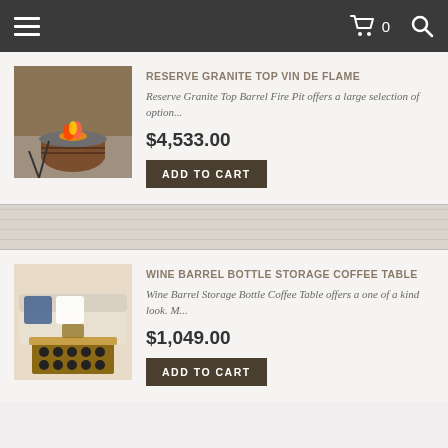Navigation bar with hamburger menu, cart (0), and search icons
RESERVE GRANITE TOP VIN DE FLAME
Reserve Granite Top Barrel Fire Pit offers a large selection of option...
$4,533.00
ADD TO CART
WINE BARREL BOTTLE STORAGE COFFEE TABLE
Wine Barrel Storage Bottle Coffee Table offers a one of a kind look. M...
$1,049.00
ADD TO CART